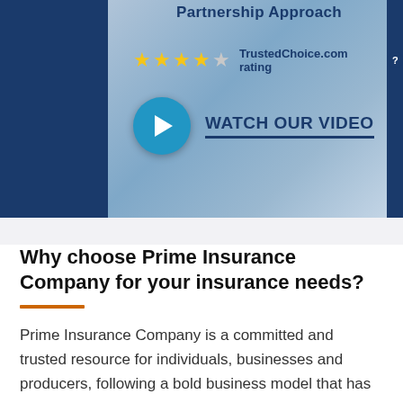[Figure (screenshot): Banner with dark blue left panel, light blue background showing a laptop/document image, 'Partnership Approach' title, 4-star TrustedChoice.com rating with question mark icon, and a teal play button with 'WATCH OUR VIDEO' text in dark blue with underline]
Why choose Prime Insurance Company for your insurance needs?
Prime Insurance Company is a committed and trusted resource for individuals, businesses and producers, following a bold business model that has inspired decades of success and growth. By keeping our underwriting and